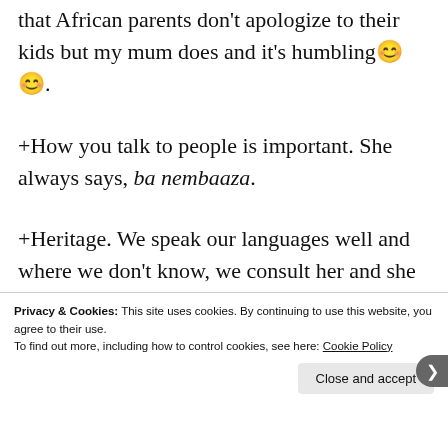that African parents don't apologize to their kids but my mum does and it's humbling 😊😊.
+How you talk to people is important. She always says, ba nembaaza.
+Heritage. We speak our languages well and where we don't know, we consult her and she will explain. We know where we come from and what
Privacy & Cookies: This site uses cookies. By continuing to use this website, you agree to their use. To find out more, including how to control cookies, see here: Cookie Policy
Close and accept